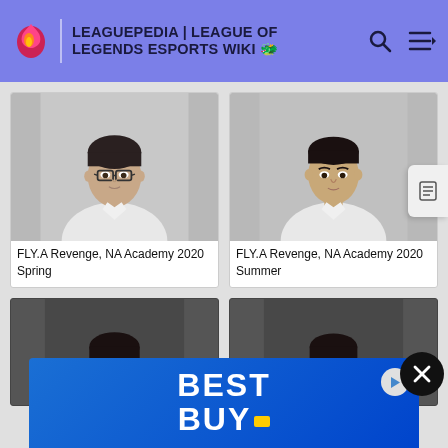LEAGUEPEDIA | LEAGUE OF LEGENDS ESPORTS WIKI
[Figure (photo): Player headshot photo - man with glasses in white shirt. FLY.A Revenge, NA Academy 2020 Spring]
FLY.A Revenge, NA Academy 2020 Spring
[Figure (photo): Player headshot photo - man without glasses in white shirt. FLY.A Revenge, NA Academy 2020 Summer]
FLY.A Revenge, NA Academy 2020 Summer
[Figure (photo): Player headshot photo partially visible - man in dark shirt (bottom row left)]
[Figure (photo): Player headshot photo partially visible - man in dark shirt (bottom row right)]
[Figure (other): Best Buy advertisement banner]